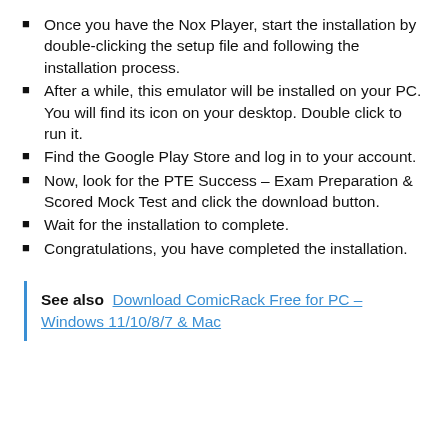Once you have the Nox Player, start the installation by double-clicking the setup file and following the installation process.
After a while, this emulator will be installed on your PC. You will find its icon on your desktop. Double click to run it.
Find the Google Play Store and log in to your account.
Now, look for the PTE Success – Exam Preparation & Scored Mock Test and click the download button.
Wait for the installation to complete.
Congratulations, you have completed the installation.
See also  Download ComicRack Free for PC – Windows 11/10/8/7 & Mac